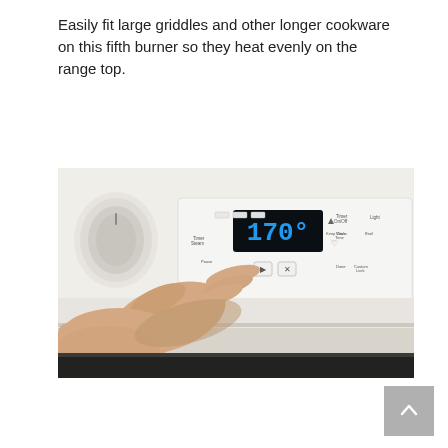Easily fit large griddles and other longer cookware on this fifth burner so they heat evenly on the range top.
[Figure (photo): A hand pressing a touch control button on a white range/oven control panel, with a digital display showing 170 degrees.]